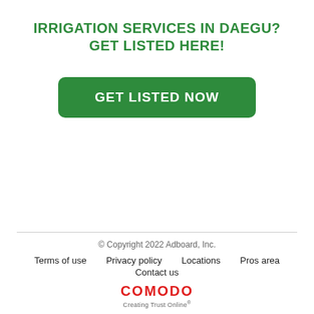IRRIGATION SERVICES IN DAEGU? GET LISTED HERE!
[Figure (other): Green rounded rectangle button with white bold text reading 'GET LISTED NOW']
© Copyright 2022 Adboard, Inc.
Terms of use   Privacy policy   Locations   Pros area   Contact us
COMODO Creating Trust Online
[Figure (logo): Comodo logo with red text 'COMODO' and tagline 'Creating Trust Online']